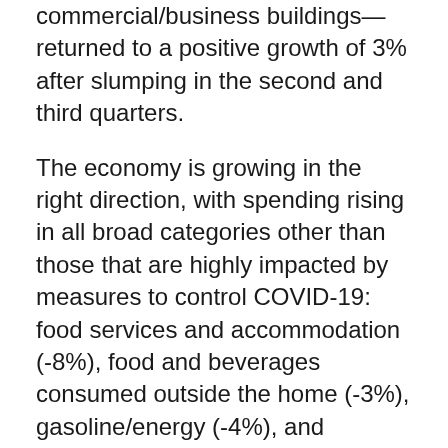commercial/business buildings—returned to a positive growth of 3% after slumping in the second and third quarters.
The economy is growing in the right direction, with spending rising in all broad categories other than those that are highly impacted by measures to control COVID-19: food services and accommodation (-8%), food and beverages consumed outside the home (-3%), gasoline/energy (-4%), and transportation (-5%). Spending for these items should increase as the vaccine distribution expands to more people.
For the year, GDP is still down by 3.5%, but looking ahead into 2021, the economy